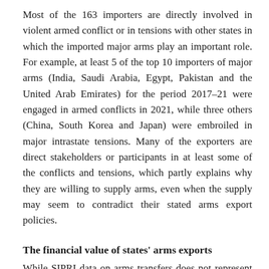Most of the 163 importers are directly involved in violent armed conflict or in tensions with other states in which the imported major arms play an important role. For example, at least 5 of the top 10 importers of major arms (India, Saudi Arabia, Egypt, Pakistan and the United Arab Emirates) for the period 2017–21 were engaged in armed conflicts in 2021, while three others (China, South Korea and Japan) were embroiled in major intrastate tensions. Many of the exporters are direct stakeholders or participants in at least some of the conflicts and tensions, which partly explains why they are willing to supply arms, even when the supply may seem to contradict their stated arms export policies.
The financial value of states' arms exports
While SIPRI data on arms transfers does not represent their financial value, many arms-exporting states do publish figures on the financial value of their arms exports. Based on this data, SIPRI estimates that the total value of the global arms trade was at least $112 billion in 2020 (the most recent year for which